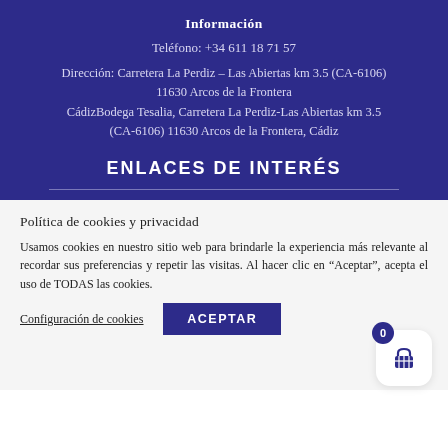Información
Teléfono: +34 611 18 71 57
Dirección: Carretera La Perdiz – Las Abiertas km 3.5 (CA-6106)
11630 Arcos de la Frontera
CádizBodega Tesalia, Carretera La Perdiz-Las Abiertas km 3.5 (CA-6106) 11630 Arcos de la Frontera, Cádiz
ENLACES DE INTERÉS
Política de cookies y privacidad
Usamos cookies en nuestro sitio web para brindarle la experiencia más relevante al recordar sus preferencias y repetir las visitas. Al hacer clic en "Aceptar", acepta el uso de TODAS las cookies.
Configuración de cookies
ACEPTAR